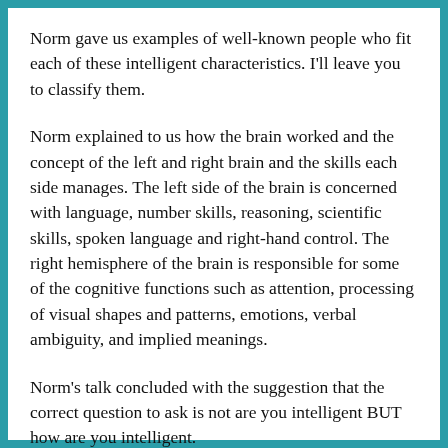Norm gave us examples of well-known people who fit each of these intelligent characteristics. I'll leave you to classify them.
Norm explained to us how the brain worked and the concept of the left and right brain and the skills each side manages. The left side of the brain is concerned with language, number skills, reasoning, scientific skills, spoken language and right-hand control. The right hemisphere of the brain is responsible for some of the cognitive functions such as attention, processing of visual shapes and patterns, emotions, verbal ambiguity, and implied meanings.
Norm's talk concluded with the suggestion that the correct question to ask is not are you intelligent BUT how are you intelligent.